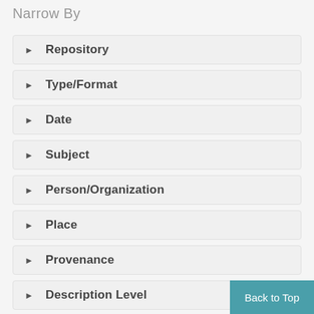Narrow By
Repository
Type/Format
Date
Subject
Person/Organization
Place
Provenance
Description Level
Online Media Type
Back to Top